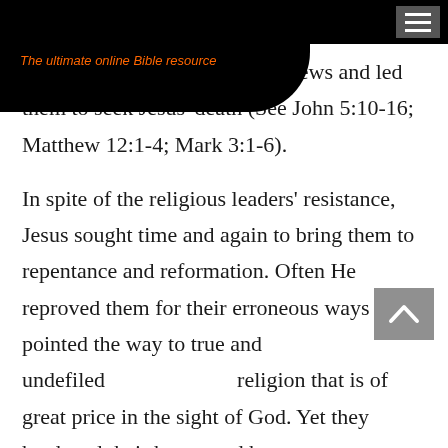BIBLEUNIVERSE.COM — The ultimate online Bible resource
This latter issue infuriated the Jews and led them to seek Jesus' death (See John 5:10-16; Matthew 12:1-4; Mark 3:1-6).
In spite of the religious leaders' resistance, Jesus sought time and again to bring them to repentance and reformation. Often He reproved them for their erroneous ways and pointed the way to true and undefiled religion that is of great price in the sight of God. Yet they hardened their hearts and beat